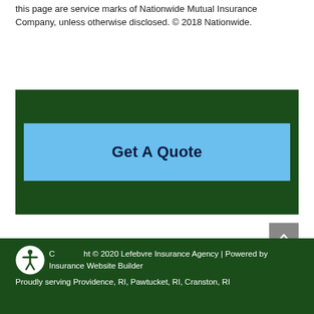this page are service marks of Nationwide Mutual Insurance Company, unless otherwise disclosed. © 2018 Nationwide.
[Figure (other): Dark green banner with a light blue 'Get A Quote' button centered inside]
[Figure (other): Gray scroll-to-top button with upward arrow icon]
Copyright © 2020 Lefebvre Insurance Agency | Powered by Insurance Website Builder
Proudly serving Providence, RI, Pawtucket, RI, Cranston, RI